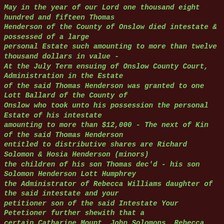May in the year of our Lord one thousand eight hundred and fifteen Thomas Henderson of the County of Onslow died intestate & possessed of a large personal Estate such amounting to more than twelve thousand dollars in value - At the July Term ensuing of Onslow County Court, Administration in the Estate of the said Thomas Henderson was granted to one Lott Ballard of the County of Onslow who took unto his possession the personal Estate of his intestate amounting to more than $12,000 - The next of Kin of the said Thomas Henderson entitled to distributive shares are Richard Solomon & Hosia Henderson (minors) the children of his son Thomas dec'd - his son Solomon Henderson Lott Humphrey the Administrator of Rebecca Williams daughter of the said intestate and your petitioner son of the said Intestate Your Petetioner further shewith that a certain Catharine Mount, John Solomons, Rebecca McKnight, Levi Solomons, Jonas Solomons, set up a claim, real or pretended as the next of Kin as legitimate Children to the said intestate, and as such to be the